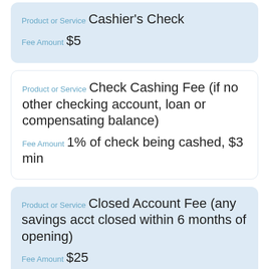Product or Service Cashier's Check
Fee Amount $5
Product or Service Check Cashing Fee (if no other checking account, loan or compensating balance)
Fee Amount 1% of check being cashed, $3 min
Product or Service Closed Account Fee (any savings acct closed within 6 months of opening)
Fee Amount $25
Product or Service (partial)